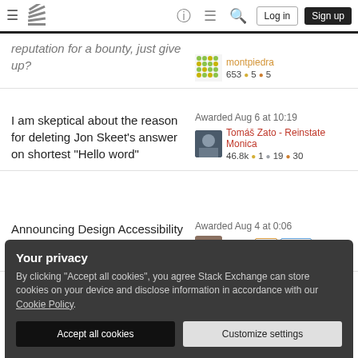Stack Overflow navigation bar with hamburger menu, logo, help icon, chat icon, search icon, Log in and Sign up buttons
reputation for a bounty, just give up?
Awarded Aug 6 at 10:19 — montpiedra 653 ●5 ●5
I am skeptical about the reason for deleting Jon Skeet's answer on shortest "Hello word"
Awarded Aug 6 at 10:19 — Tomáš Zato - Reinstate Monica 46.8k ●1 ●19 ●30
Announcing Design Accessibility Updates on SO
Awarded Aug 4 at 0:06 — Rosie Staff Mod 101 ●1 ●8 ●16
Your privacy
By clicking "Accept all cookies", you agree Stack Exchange can store cookies on your device and disclose information in accordance with our Cookie Policy.
Accept all cookies
Customize settings